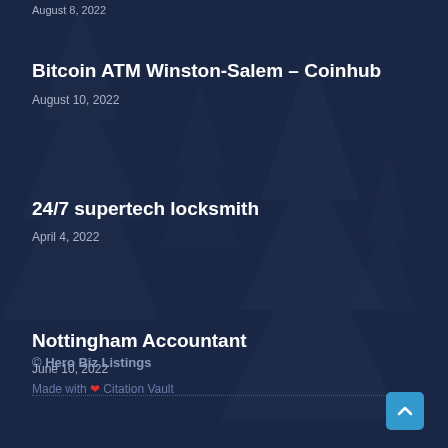August 8, 2022
Bitcoin ATM Winston-Salem – Coinhub
August 10, 2022
24/7 supertech locksmith
April 4, 2022
Nottingham Accountant
June 10, 2022
© Hero Biz Listings
Made with ❤ Citation Vault